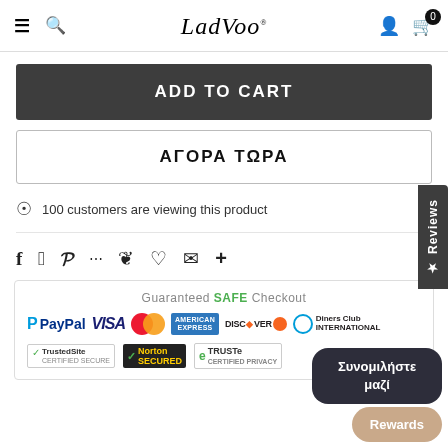LadVoo — navigation header with hamburger, search, logo, user, cart (0)
ADD TO CART
ΑΓΟΡΑ ΤΩΡΑ
100 customers are viewing this product
[Figure (infographic): Social sharing icons row: Facebook, Twitter, Pinterest, grid, bookmark, heart, email, plus]
[Figure (infographic): Guaranteed SAFE Checkout section with payment logos: PayPal, VISA, Mastercard, Amex, Discover, Diners Club International, TrustedSite, Norton Secured, TRUSTe]
Συνομιλήστε μαζί — chat bubble
Rewards